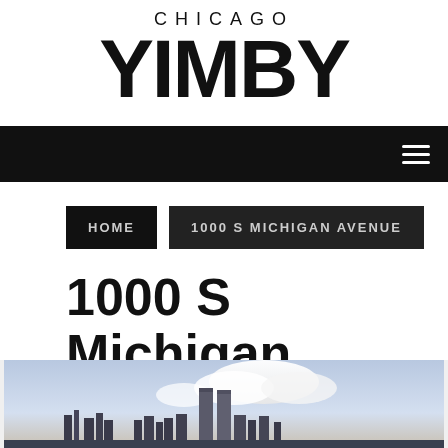CHICAGO YIMBY
[Figure (screenshot): Black navigation bar with hamburger menu icon on right]
HOME | 1000 S MICHIGAN AVENUE
1000 S Michigan Avenue
[Figure (photo): Chicago skyline photo partially visible at bottom of page]